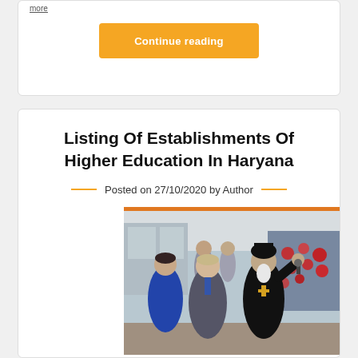more
Continue reading
Listing Of Establishments Of Higher Education In Haryana
Posted on 27/10/2020 by Author
[Figure (photo): Group of people in a school or educational institution hallway, including a woman in blue jacket, a man in suit, and an Orthodox Christian cleric in black robes gesturing, with heart decorations on a bulletin board in background]